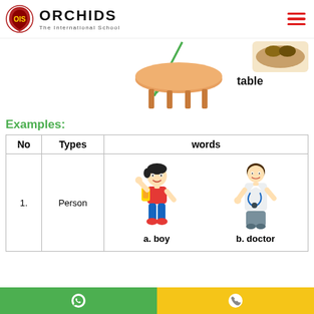[Figure (logo): Orchids The International School logo with red shield emblem]
[Figure (illustration): Illustration of a wooden table with a green arrow pointing to it from upper right, and a branch/food item image in upper right corner. Label 'table' next to the table illustration.]
Examples:
| No | Types | words |
| --- | --- | --- |
| 1. | Person | a. boy   b. doctor |
[Figure (illustration): Cartoon boy with backpack labeled 'a. boy' and cartoon female doctor labeled 'b. doctor' inside the table words cell]
[Figure (infographic): Bottom bar with green WhatsApp icon section and yellow phone icon section]